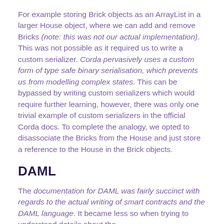For example storing Brick objects as an ArrayList in a larger House object, where we can add and remove Bricks (note: this was not our actual implementation). This was not possible as it required us to write a custom serializer. Corda pervasively uses a custom form of type safe binary serialisation, which prevents us from modelling complex states. This can be bypassed by writing custom serializers which would require further learning, however, there was only one trivial example of custom serializers in the official Corda docs. To complete the analogy, we opted to disassociate the Bricks from the House and just store a reference to the House in the Brick objects.
DAML
The documentation for DAML was fairly succinct with regards to the actual writing of smart contracts and the DAML language. It became less so when trying to understand details about the